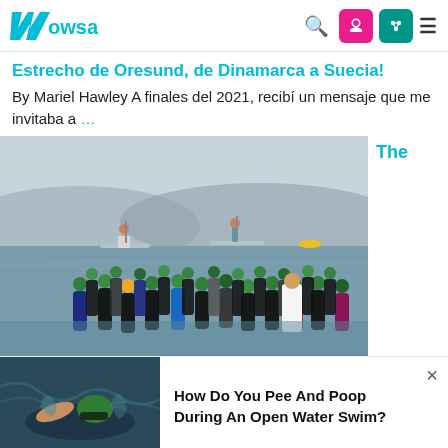WOWSA
Estrecho de Oresund, de Dinamarca a Suecia!
By Mariel Hawley A finales del 2021, recibí un mensaje que me invitaba a …
[Figure (photo): Group of open water swimmers in green caps wading into a lake, with two people on paddleboards in the background. Mountains visible in the hazy distance.]
The
[Figure (photo): Close-up of an open water swimmer in water, wearing a green swim cap.]
How Do You Pee And Poop During An Open Water Swim?